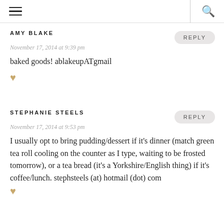≡  🔍
AMY BLAKE
November 17, 2014 at 9:39 pm
baked goods! ablakeupATgmail ♥
REPLY
STEPHANIE STEELS
November 17, 2014 at 9:53 pm
I usually opt to bring pudding/dessert if it's dinner (match green tea roll cooling on the counter as I type, waiting to be frosted tomorrow), or a tea bread (it's a Yorkshire/English thing) if it's coffee/lunch. stephsteels (at) hotmail (dot) com
REPLY